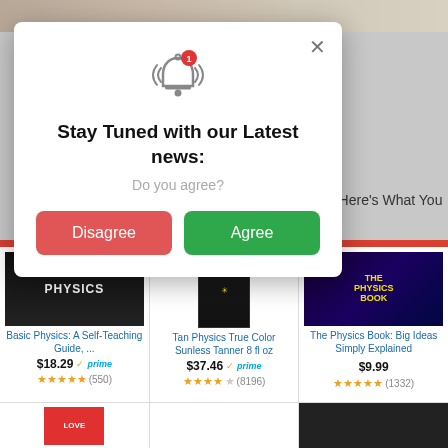[Figure (screenshot): Browser notification popup modal on an e-commerce (Amazon-like) page showing physics books. The popup has a bell icon with a red badge showing '1', title 'Stay Tuned with our Latest news:', subtitle 'Do you agree?', and two buttons: red 'Disagree' and green 'Agree'. Background shows product listings for physics books.]
Stay Tuned with our Latest news:
Do you agree?
Disagree
Agree
Basic Physics: A Self-Teaching Guide, ...
$18.29 ✓prime
(550)
Tan Physics True Color Sunless Tanner 8 fl oz
$37.46 ✓prime
(8196)
The Physics Book: Big Ideas Simply Explained
$9.99
(1332)